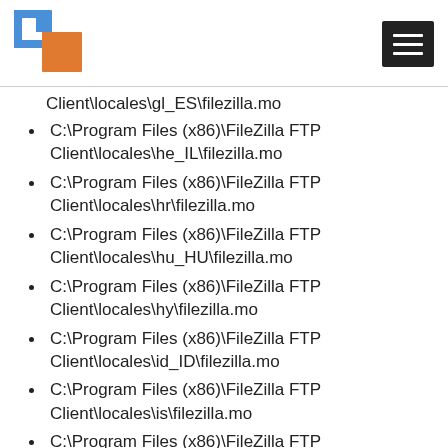[Figure (logo): FileZilla-like logo with blue and orange squares, and hamburger menu icon in top right]
C:\Program Files (x86)\FileZilla FTP Client\locales\gl_ES\filezilla.mo
C:\Program Files (x86)\FileZilla FTP Client\locales\he_IL\filezilla.mo
C:\Program Files (x86)\FileZilla FTP Client\locales\hr\filezilla.mo
C:\Program Files (x86)\FileZilla FTP Client\locales\hu_HU\filezilla.mo
C:\Program Files (x86)\FileZilla FTP Client\locales\hy\filezilla.mo
C:\Program Files (x86)\FileZilla FTP Client\locales\id_ID\filezilla.mo
C:\Program Files (x86)\FileZilla FTP Client\locales\is\filezilla.mo
C:\Program Files (x86)\FileZilla FTP Client\locales\it\filezilla.mo